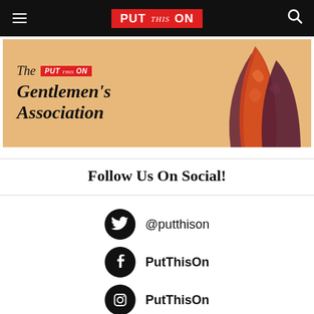PUT this ON
[Figure (illustration): The Put This On Gentlemen's Association banner advertisement with decorative pocket squares on orange background]
Follow Us On Social!
@putthison
PutThisOn
PutThisOn